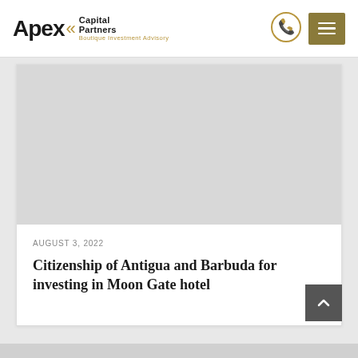[Figure (logo): Apex Capital Partners – Boutique Investment Advisory logo with chevron symbols in gold]
[Figure (other): Phone icon in gold circle]
[Figure (other): Hamburger menu icon in olive/gold square button]
[Figure (photo): Gray image placeholder for article header image]
AUGUST 3, 2022
Citizenship of Antigua and Barbuda for investing in Moon Gate hotel
[Figure (other): Back-to-top arrow button, dark gray]